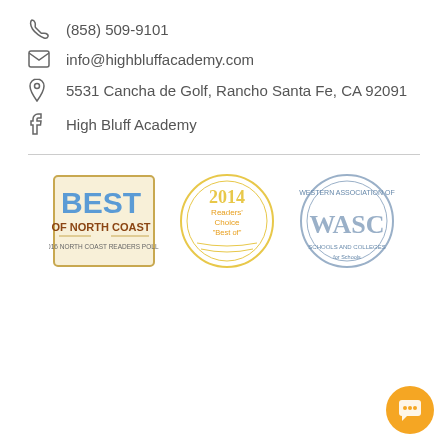(858) 509-9101
info@highbluffacademy.com
5531 Cancha de Golf, Rancho Santa Fe, CA 92091
High Bluff Academy
[Figure (logo): Three award badges: Best of North Coast 2016 North Coast Readers Poll, 2014 Readers Choice Best of circular badge, and WASC Western Association of Schools and Colleges seal]
[Figure (other): Orange circular chat button with speech bubble icon]